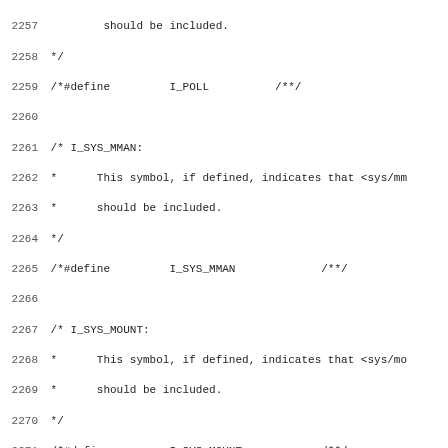Source code listing showing C preprocessor symbol definitions for I_POLL, I_SYS_MMAN, I_SYS_MOUNT, I_SYS_STATVFS, INSTALL_USR_BIN_PERL, HAS_FSTAT64, HAS_FTRUNCATE64 with line numbers 2257-2289